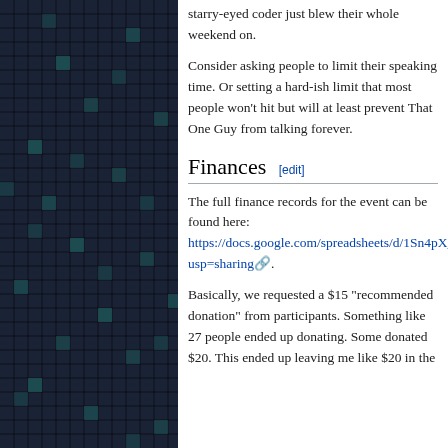[Figure (other): Dark blue grid/mosaic pattern on the left panel of the page, forming a decorative background with a grid of small squares in dark blue and teal colors.]
starry-eyed coder just blew their whole weekend on.
Consider asking people to limit their speaking time. Or setting a hard-ish limit that most people won't hit but will at least prevent That One Guy from talking forever.
Finances [edit]
The full finance records for the event can be found here:
https://docs.google.com/spreadsheets/d/1Sn4pX_caXBhOM27LRX1DaWdFLQRDkhvPkcBIlsx6PLA/edit?usp=sharing.
Basically, we requested a $15 "recommended donation" from participants. Something like 27 people ended up donating. Some donated $20. This ended up leaving me like $20 in the